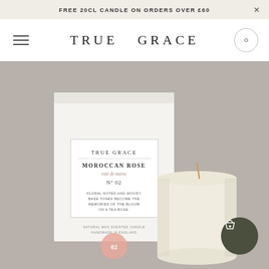FREE 20CL CANDLE ON ORDERS OVER £60
TRUE GRACE
[Figure (photo): Product photo of True Grace Moroccan Rose candle (No.02) showing white box packaging with label and a cream-coloured votive candle beside it on a grey background. A dark green circular shop/cart button overlay appears in the bottom-right corner.]